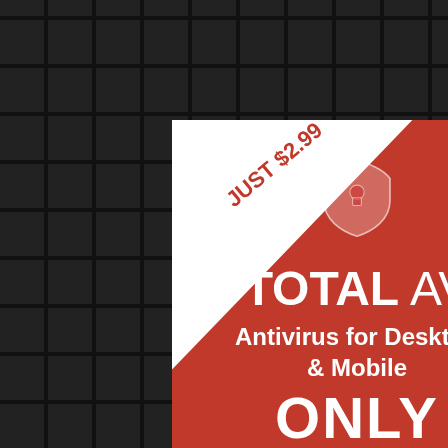[Figure (infographic): TotalAV antivirus advertisement banner on dark tiled background. Red vertical banner with white diagonal 'JUST $2.99' ribbon in top-left corner, shield logo, TOTAL AV brand name, subtitle 'Antivirus for Desktop & Mobile', and 'ONLY' text at bottom. Small close X button in top-right corner of banner.]